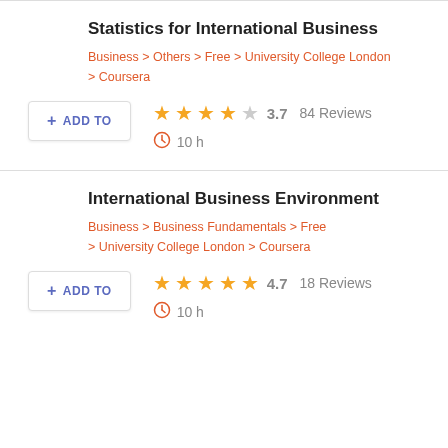Statistics for International Business
Business > Others > Free > University College London > Coursera
+ ADD TO   ★★★★☆ 3.7  84 Reviews   🕙 10 h
International Business Environment
Business > Business Fundamentals > Free > University College London > Coursera
+ ADD TO   ★★★★★ 4.7  18 Reviews   🕙 10 h